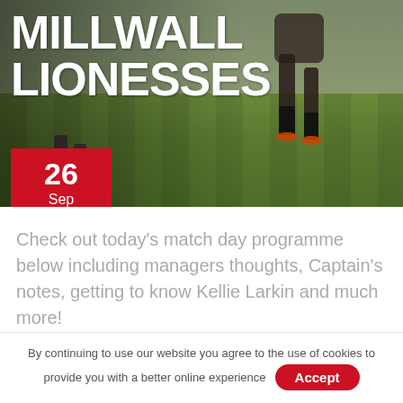[Figure (photo): Hero image of a football/soccer match on a grass pitch, players visible, with 'MILLWALL LIONESSES' text overlay]
MILLWALL LIONESSES
26 Sep 2021
Check out today's match day programme below including managers thoughts, Captain's notes, getting to know Kellie Larkin and much more!
By continuing to use our website you agree to the use of cookies to provide you with a better online experience  Accept